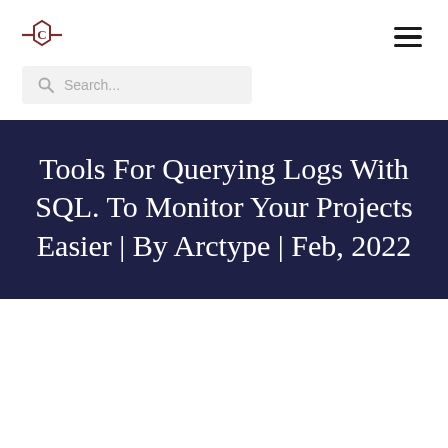[Figure (logo): Codementor logo: a hexagon with 'C' in the center flanked by horizontal lines on each side]
Search...
Tools For Querying Logs With SQL. To Monitor Your Projects Easier | By Arctype | Feb, 2022